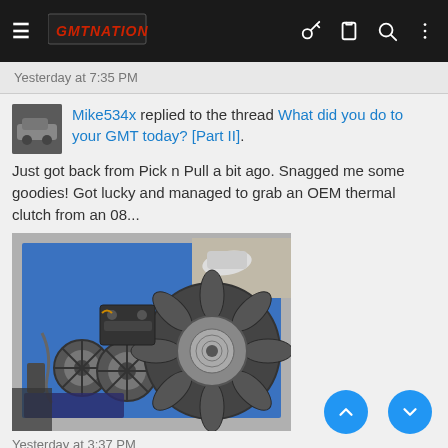GMT Nation (navigation bar)
Yesterday at 7:35 PM
Mike534x replied to the thread What did you do to your GMT today? [Part II]. Just got back from Pick n Pull a bit ago. Snagged me some goodies! Got lucky and managed to grab an OEM thermal clutch from an 08...
[Figure (photo): Photo of automotive parts including thermal clutch fans and components laid on a blue surface]
Yesterday at 3:37 PM